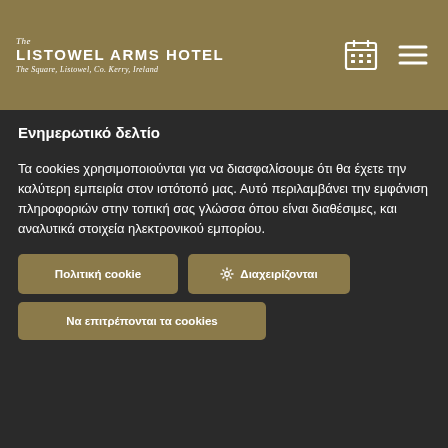The LISTOWEL ARMS HOTEL The Square, Listowel, Co. Kerry, Ireland
Ενημερωτικό δελτίο
Τα cookies χρησιμοποιούνται για να διασφαλίσουμε ότι θα έχετε την καλύτερη εμπειρία στον ιστότοπό μας. Αυτό περιλαμβάνει την εμφάνιση πληροφοριών στην τοπική σας γλώσσα όπου είναι διαθέσιμες, και αναλυτικά στοιχεία ηλεκτρονικού εμπορίου.
Πολιτική cookie | Διαχειρίζονται | Να επιτρέπονται τα cookies